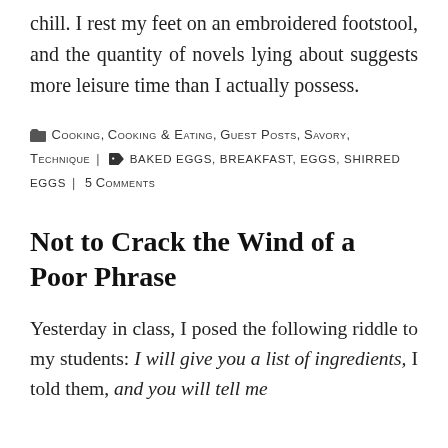chill. I rest my feet on an embroidered footstool, and the quantity of novels lying about suggests more leisure time than I actually possess.
Cooking, Cooking & Eating, Guest Posts, Savory, Technique | baked eggs, breakfast, eggs, shirred eggs | 5 Comments
Not to Crack the Wind of a Poor Phrase
Yesterday in class, I posed the following riddle to my students: I will give you a list of ingredients, I told them, and you will tell me